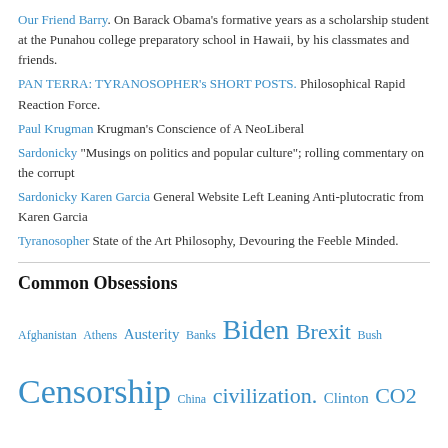Our Friend Barry. On Barack Obama's formative years as a scholarship student at the Punahou college preparatory school in Hawaii, by his classmates and friends.
PAN TERRA: TYRANOSOPHER's SHORT POSTS. Philosophical Rapid Reaction Force.
Paul Krugman Krugman's Conscience of A NeoLiberal
Sardonicky “Musings on politics and popular culture”; rolling commentary on the corrupt
Sardonicky Karen Garcia General Website Left Leaning Anti-plutocratic from Karen Garcia
Tyranosopher State of the Art Philosophy, Devouring the Feeble Minded.
Common Obsessions
Afghanistan Athens Austerity Banks Biden Brexit Bush Censorship China civilization. Clinton CO2 conspiracy Corruption COVID Debt democracy Direct democracy Economy Einstein empire Euro